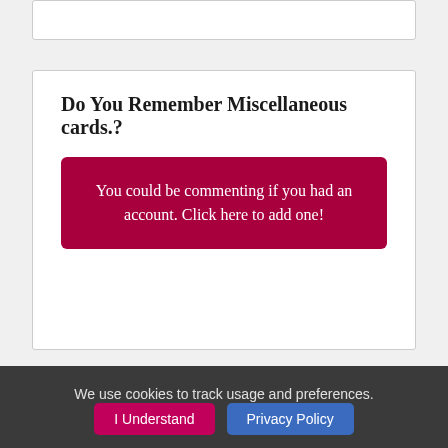Do You Remember Miscellaneous cards.?
You could be commenting if you had an account. Click here to add one!
Follow us on Facebook!
We use cookies to track usage and preferences.
I Understand
Privacy Policy